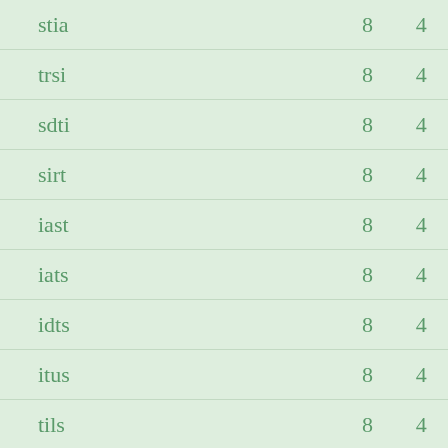| stia | 8 | 4 |
| trsi | 8 | 4 |
| sdti | 8 | 4 |
| sirt | 8 | 4 |
| iast | 8 | 4 |
| iats | 8 | 4 |
| idts | 8 | 4 |
| itus | 8 | 4 |
| tils | 8 | 4 |